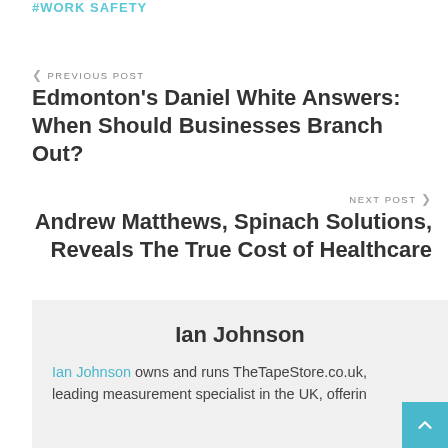#WORK SAFETY
< PREVIOUS POST
Edmonton's Daniel White Answers: When Should Businesses Branch Out?
NEXT POST >
Andrew Matthews, Spinach Solutions, Reveals The True Cost of Healthcare
Ian Johnson
Ian Johnson owns and runs TheTapeStore.co.uk, leading measurement specialist in the UK, offerin